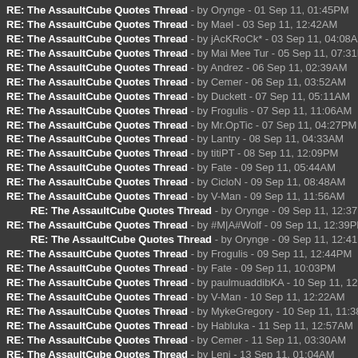RE: The AssaultCube Quotes Thread - by Orynge - 01 Sep 11, 01:45PM
RE: The AssaultCube Quotes Thread - by Mael - 03 Sep 11, 12:42AM
RE: The AssaultCube Quotes Thread - by jAcKRoCk* - 03 Sep 11, 04:08AM
RE: The AssaultCube Quotes Thread - by Mai Mee Tur - 05 Sep 11, 07:31PM
RE: The AssaultCube Quotes Thread - by Andrez - 06 Sep 11, 02:39AM
RE: The AssaultCube Quotes Thread - by Cemer - 06 Sep 11, 03:52AM
RE: The AssaultCube Quotes Thread - by Duckett - 07 Sep 11, 05:11AM
RE: The AssaultCube Quotes Thread - by Frogulis - 07 Sep 11, 11:06AM
RE: The AssaultCube Quotes Thread - by Mr.OpTic - 07 Sep 11, 04:27PM
RE: The AssaultCube Quotes Thread - by Lantry - 08 Sep 11, 04:33AM
RE: The AssaultCube Quotes Thread - by titiPT - 08 Sep 11, 12:09PM
RE: The AssaultCube Quotes Thread - by Fate - 09 Sep 11, 05:44AM
RE: The AssaultCube Quotes Thread - by CicloN - 09 Sep 11, 08:48AM
RE: The AssaultCube Quotes Thread - by V-Man - 09 Sep 11, 11:56AM
RE: The AssaultCube Quotes Thread - by Orynge - 09 Sep 11, 12:37PM (indented)
RE: The AssaultCube Quotes Thread - by #M|A#Wolf - 09 Sep 11, 12:39PM
RE: The AssaultCube Quotes Thread - by Orynge - 09 Sep 11, 12:41PM (indented)
RE: The AssaultCube Quotes Thread - by Frogulis - 09 Sep 11, 12:44PM
RE: The AssaultCube Quotes Thread - by Fate - 09 Sep 11, 10:03PM
RE: The AssaultCube Quotes Thread - by paulmuaddibKA - 10 Sep 11, 12:09A
RE: The AssaultCube Quotes Thread - by V-Man - 10 Sep 11, 12:22AM
RE: The AssaultCube Quotes Thread - by MykeGregory - 10 Sep 11, 11:38AM
RE: The AssaultCube Quotes Thread - by Habluka - 11 Sep 11, 12:57AM
RE: The AssaultCube Quotes Thread - by Cemer - 11 Sep 11, 03:30AM
RE: The AssaultCube Quotes Thread - by Leni - 13 Sep 11, 01:04AM